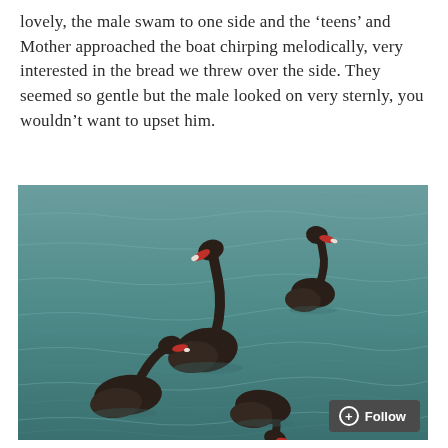lovely, the male swam to one side and the ‘teens’ and Mother approached the boat chirping melodically, very interested in the bread we threw over the side. They seemed so gentle but the male looked on very sternly, you wouldn’t want to upset him.
[Figure (photo): Photograph of four black swans swimming in rippled teal-blue water, viewed from above. The swans have dark brown-black plumage and red bills. One swan is prominent in the center-left with its neck extended, one is upper-right, and two are in the lower portion of the frame.]